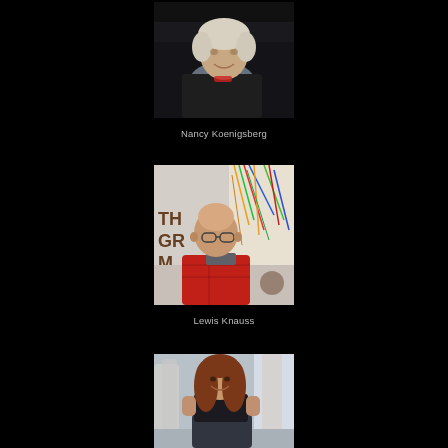[Figure (photo): Portrait photo of Nancy Koenigsberg, an elderly woman sitting in a dark chair, wearing a dark jacket and light blue/grey scarf, smiling.]
Nancy Koenigsberg
[Figure (photo): Photo of Lewis Knauss, a bald man wearing glasses and a red plaid jacket, standing in front of a wall with abstract art and partial text reading 'THE GR...']
Lewis Knauss
[Figure (photo): Photo of a woman with long reddish-brown hair, seated and smiling, wearing a black top and jeans, with white sculptural elements in the background near a window.]